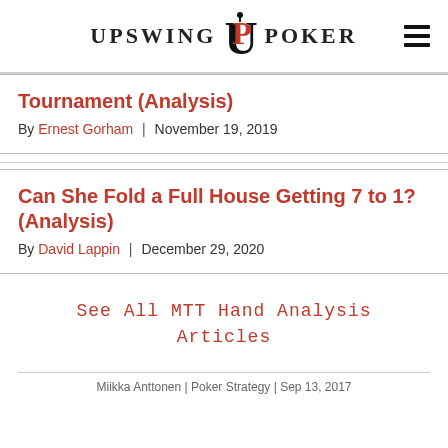UPSWING POKER
Tournament (Analysis)
By Ernest Gorham | November 19, 2019
Can She Fold a Full House Getting 7 to 1? (Analysis)
By David Lappin | December 29, 2020
See All MTT Hand Analysis Articles
Miikka Anttonen | Poker Strategy | Sep 13, 2017